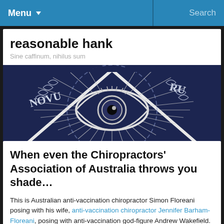Menu   Search
reasonable hank
Sine caffinum, nihilus sum
[Figure (photo): Close-up photo of a dark navy/black circular emblem or coin featuring an 'all-seeing eye' within a triangle, surrounded by decorative leaf patterns and partial text reading 'NOVU...' and 'RU...']
When even the Chiropractors' Association of Australia throws you shade…
This is Australian anti-vaccination chiropractor Simon Floreani posing with his wife, anti-vaccination chiropractor Jennifer Barham-Floreani, posing with anti-vaccination god-figure Andrew Wakefield. The Floreani's are/were professional members of the disgraced anti-vaccination pressure group, the Australian Vaccination-skeptics